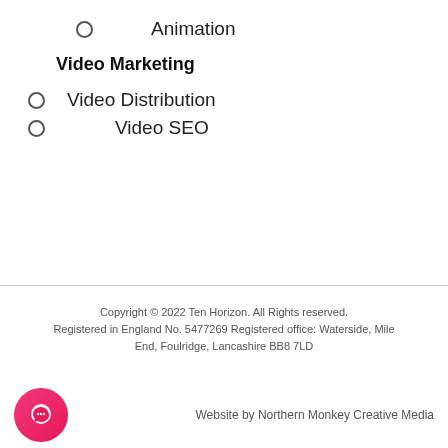Animation
Video Marketing
Video Distribution
Video SEO
Copyright © 2022 Ten Horizon. All Rights reserved. Registered in England No. 5477269 Registered office: Waterside, Mile End, Foulridge, Lancashire BB8 7LD
Website by Northern Monkey Creative Media